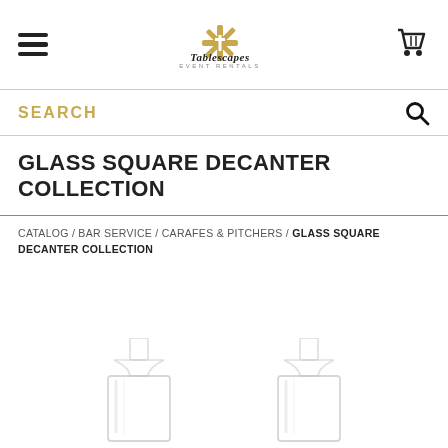[Figure (logo): Tablescapes Event Rentals logo with gold snowflake/star emblem above the stylized script text 'Tablescapes EVENT RENTALS']
GLASS SQUARE DECANTER COLLECTION
CATALOG / BAR SERVICE / CARAFES & PITCHERS / GLASS SQUARE DECANTER COLLECTION
[Figure (photo): Two glass square decanter bottles shown at the bottom of the page, partially cut off, transparent glass with wide square bases]